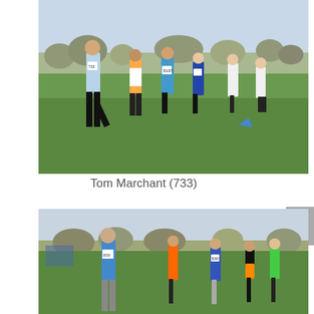[Figure (photo): Cross country race photo showing several male runners on a grass field. Lead runner in light blue vest and black tights wearing bib number 733 (Tom Marchant). Other runners visible behind him in various club vests. Bare trees and overcast sky in background.]
Tom Marchant (733)
[Figure (photo): Second cross country race photo showing runners on a grass field. Lead runner in blue vest wearing bib number 000, followed by other runners in blue and yellow vests, with a runner in green vest on the right. Similar outdoor field setting with bare trees visible in background.]